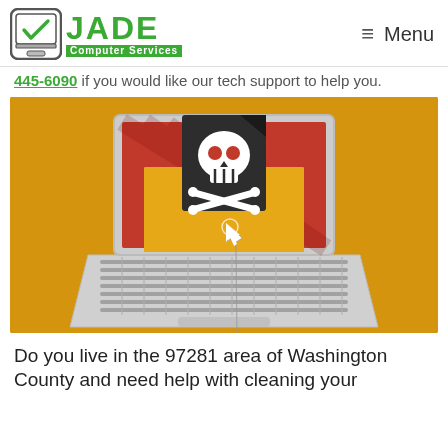JADE Computer Services — Menu
445-6090 if you would like our tech support to help you.
[Figure (illustration): Illustration of a laptop with a red screen displaying an open envelope with a dark document featuring a skull-and-crossbones emerging from it, and a mouse cursor pointing at the envelope. Yellow/golden background. Represents malware/phishing email threat.]
Do you live in the 97281 area of Washington County and need help with cleaning your